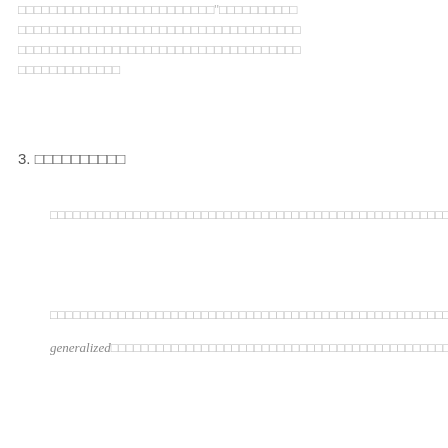□□□□□□□□□□□□□□□□□□□□□□□□□□□□□□□□□□□□□□□□□□□□□□□□□□□□□□□□□□□□□□□□□□□□□□□□□□□□□□□□□□□□□□□□□□□□□□□□□□□□□□□□□□□□□□□□□□□□□□□□□□□□□□□□□□□□□□□□
3. □□□□□□□□□□
□□□□□□□□□□□□□□□□□□□□□□□□□□□□□□□□□□□□□□□□□□□□□□□□□□□□□□□□□□□□□□□□□□□□□□□□□□□□□□□□□□□□□□□□□□□□□□□□□□□□□□□□□□□□□□□□□□□□□□□□□□□□□□□□□□□□□□□□
□□□□□□□□□□□□□□□□□□□□□□□□□□□□□□□□□□□□□□□□□□□□□□□□□□□□□□□□□□□□□□□□□□□□□□□□□□□□□□□□□□□□□□□□□□□□□□□□□□□□□□□□□□□□□□□□□□□□□□□□□□□□□□□□□□□□□□□□
generalized□□□□□□□□□□□□□□□□□□□□□□□□□□□□□□□□□□□□□□□□□□□□□□□□□□□□□□□□□□□□□□□□□□□□□□□□□□□□□□□□□□□□□□□□□□□□□□□□□□□□□□□□□□□□□□□□□□□□□□□□□□□□□□□□□□□□□□□□□□□□□□□□□□□□□□□□□□□□□□□□□□□□□□□□□□□□□□□□□□□□□□□□□□□□□□□□□□□□□□□□□□□□□□